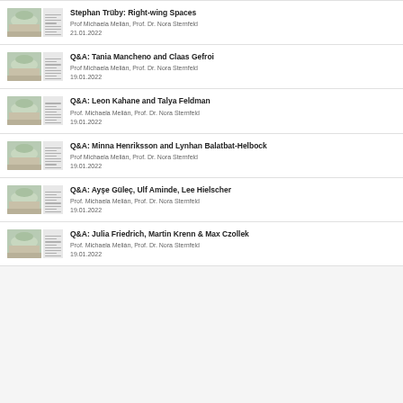Stephan Trüby: Right-wing Spaces
Prof Michaela Melián, Prof. Dr. Nora Sternfeld
21.01.2022
Q&A: Tania Mancheno and Claas Gefroi
Prof Michaela Melián, Prof. Dr. Nora Sternfeld
19.01.2022
Q&A: Leon Kahane and Talya Feldman
Prof. Michaela Melián, Prof. Dr. Nora Sternfeld
19.01.2022
Q&A: Minna Henriksson and Lynhan Balatbat-Helbock
Prof Michaela Melián, Prof. Dr. Nora Sternfeld
19.01.2022
Q&A: Ayşe Güleç, Ulf Aminde, Lee Hielscher
Prof. Michaela Melián, Prof. Dr. Nora Sternfeld
19.01.2022
Q&A: Julia Friedrich, Martin Krenn & Max Czollek
Prof. Michaela Melián, Prof. Dr. Nora Sternfeld
19.01.2022